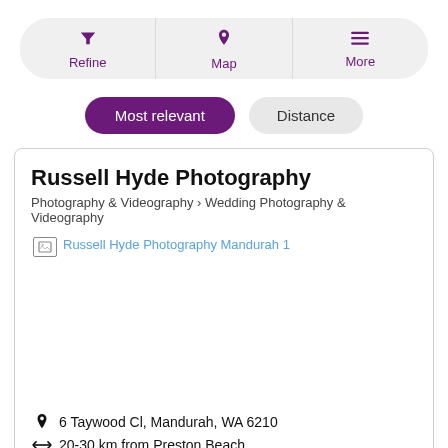[Figure (screenshot): Mobile app toolbar with three buttons: Refine (filter icon), Map (pin icon), More (hamburger icon), styled with purple icons on light grey pill-shaped background]
[Figure (screenshot): Sort toggle buttons: 'Most relevant' (filled purple pill) and 'Distance' (light grey pill)]
Russell Hyde Photography
Photography & Videography > Wedding Photography & Videography
[Figure (photo): Broken image placeholder showing 'Russell Hyde Photography Mandurah 1' as blue link text]
6 Taywood Cl, Mandurah, WA 6210
20-30 km from Preston Beach